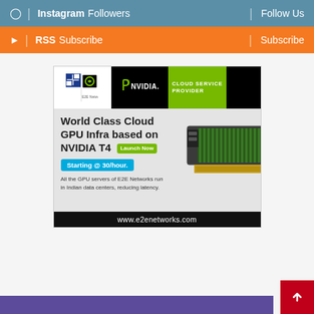Instagram Followers | Follow Us
RSS Subscribe | Subscribe
[Figure (infographic): E2E Networks NVIDIA Cloud Service Provider advertisement. Shows E2E Networks logo and NVIDIA logo with 'CLOUD SERVICE PROVIDER' badge. Text: 'World Class Cloud GPU Infra based on NVIDIA T4 [Launch Now] Starting @ 30/hour. All the GPU servers of E2E Networks run in Indian data centers, reducing latency.' Footer: www.e2enetworks.com. Image shows NVIDIA T4 GPU card.]